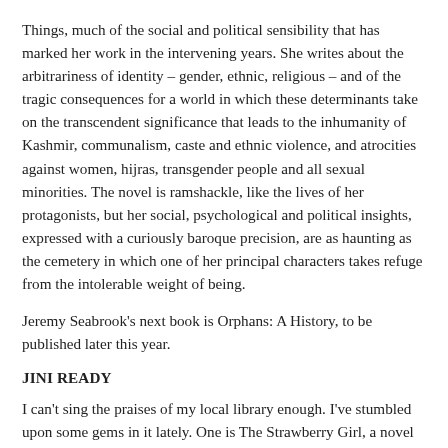Things, much of the social and political sensibility that has marked her work in the intervening years. She writes about the arbitrariness of identity – gender, ethnic, religious – and of the tragic consequences for a world in which these determinants take on the transcendent significance that leads to the inhumanity of Kashmir, communalism, caste and ethnic violence, and atrocities against women, hijras, transgender people and all sexual minorities. The novel is ramshackle, like the lives of her protagonists, but her social, psychological and political insights, expressed with a curiously baroque precision, are as haunting as the cemetery in which one of her principal characters takes refuge from the intolerable weight of being.
Jeremy Seabrook's next book is Orphans: A History, to be published later this year.
JINI READY
I can't sing the praises of my local library enough. I've stumbled upon some gems in it lately. One is The Strawberry Girl, a novel by Lisa Strømme (Chatto & Windus). It's set in Norway and explores the power of art and Nature – it's loosely an